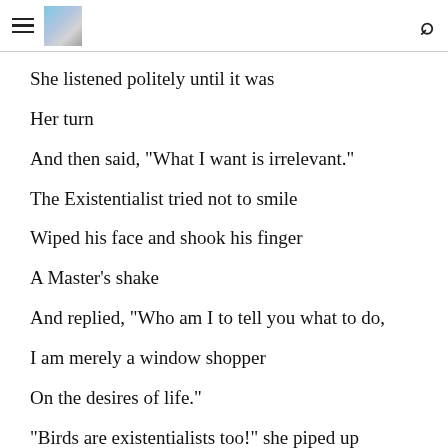[hamburger menu] [header image] [search icon]
She listened politely until it was

Her turn

And then said, "What I want is irrelevant."

The Existentialist tried not to smile

Wiped his face and shook his finger

A Master's shake

And replied, "Who am I to tell you what to do,

I am merely a window shopper

On the desires of life."

"Birds are existentialists too!" she piped up pointing to